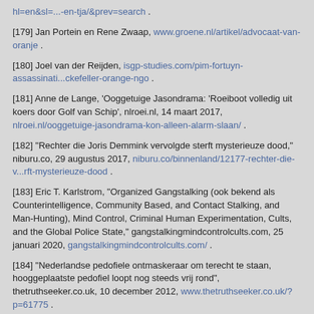hl=en&sl=...-en-tja/&prev=search .
[179] Jan Portein en Rene Zwaap, www.groene.nl/artikel/advocaat-van-oranje .
[180] Joel van der Reijden, isgp-studies.com/pim-fortuyn-assassinati...ckefeller-orange-ngo .
[181] Anne de Lange, 'Ooggetuige Jasondrama: 'Roeiboot volledig uit koers door Golf van Schip', nlroei.nl, 14 maart 2017, nlroei.nl/ooggetuige-jasondrama-kon-alleen-alarm-slaan/ .
[182] "Rechter die Joris Demmink vervolgde sterft mysterieuze dood," niburu.co, 29 augustus 2017, niburu.co/binnenland/12177-rechter-die-v...rft-mysterieuze-dood .
[183] Eric T. Karlstrom, "Organized Gangstalking (ook bekend als Counterintelligence, Community Based, and Contact Stalking, and Man-Hunting), Mind Control, Criminal Human Experimentation, Cults, and the Global Police State," gangstalkingmindcontrolcults.com, 25 januari 2020, gangstalkingmindcontrolcults.com/ .
[184] "Nederlandse pedofiele ontmaskeraar om terecht te staan, hooggeplaatste pedofiel loopt nog steeds vrij rond", thetruthseeker.co.uk, 10 december 2012, www.thetruthseeker.co.uk/?p=61775 .